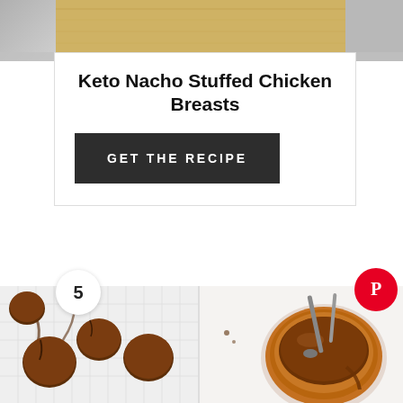[Figure (photo): Top portion of a food photo showing a wooden cutting board on a marble surface]
Keto Nacho Stuffed Chicken Breasts
GET THE RECIPE
[Figure (photo): Split image showing chocolate truffles/balls on a white tray on the left, and a glass bowl of melted chocolate with a spoon on the right. Number badge '5' in top left, Pinterest badge in top right.]